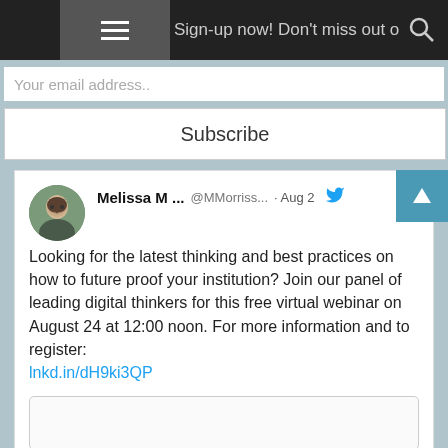Sign-up now! Don't miss out on future IngenioUs pos...
Your email address..
Subscribe
Melissa M ... @MMorriss... · Aug 2
Looking for the latest thinking and best practices on how to future proof your institution? Join our panel of leading digital thinkers for this free virtual webinar on August 24 at 12:00 noon. For more information and to register: lnkd.in/dH9ki3QP